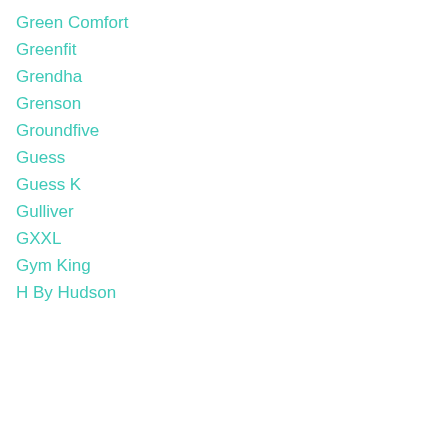Green Comfort
Greenfit
Grendha
Grenson
Groundfive
Guess
Guess K
Gulliver
GXXL
Gym King
H By Hudson